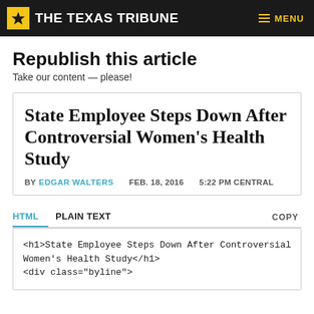THE TEXAS TRIBUNE
Republish this article
Take our content — please!
State Employee Steps Down After Controversial Women's Health Study
BY EDGAR WALTERS   FEB. 18, 2016   5:22 PM CENTRAL
HTML   PLAIN TEXT   COPY
<h1>State Employee Steps Down After Controversial Women's Health Study</h1>
<div class="byline">